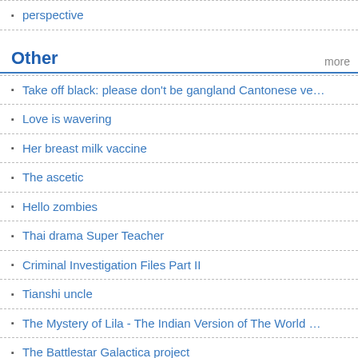perspective
Other
Take off black: please don't be gangland Cantonese ve…
Love is wavering
Her breast milk vaccine
The ascetic
Hello zombies
Thai drama Super Teacher
Criminal Investigation Files Part II
Tianshi uncle
The Mystery of Lila - The Indian Version of The World …
The Battlestar Galactica project